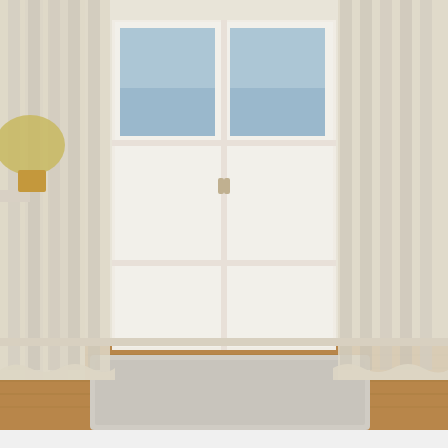[Figure (photo): Cream/ivory blackout curtains hanging on French doors with hardwood floor and a rug visible at the bottom, plant in wicker basket on left side]
French doors archives bukit
[Figure (photo): White vertical blinds covering large French doors/patio doors in a living room setting with trees visible outside through the windows, furniture and plants visible]